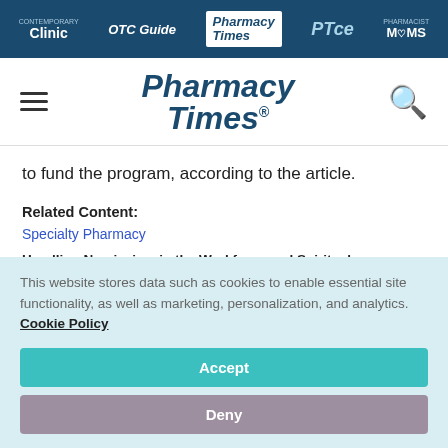Clinic | OTC Guide | Pharmacy Times | PTce | Pharmacist MOMS
[Figure (logo): Pharmacy Times logo with hamburger menu and search icon]
to fund the program, according to the article.
Related Content:
Specialty Pharmacy
Handling Narcissism in the Workforce and Spiritual Bankruptcy
Digital Transformation, Shift to Home Care Delivery Have Significant
This website stores data such as cookies to enable essential site functionality, as well as marketing, personalization, and analytics. Cookie Policy
Accept
Deny